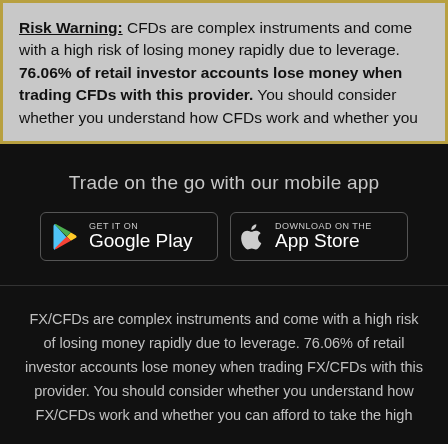Risk Warning: CFDs are complex instruments and come with a high risk of losing money rapidly due to leverage. 76.06% of retail investor accounts lose money when trading CFDs with this provider. You should consider whether you understand how CFDs work and whether you
Trade on the go with our mobile app
[Figure (other): Two app store buttons: 'GET IT ON Google Play' and 'Download on the App Store']
FX/CFDs are complex instruments and come with a high risk of losing money rapidly due to leverage. 76.06% of retail investor accounts lose money when trading FX/CFDs with this provider. You should consider whether you understand how FX/CFDs work and whether you can afford to take the high